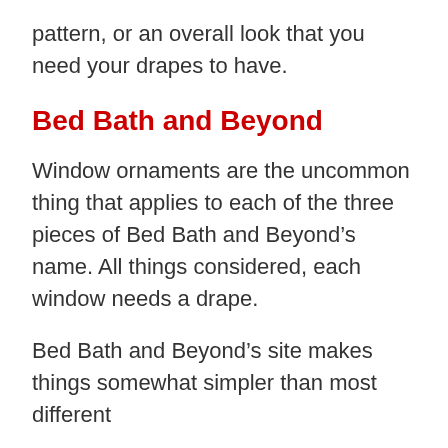pattern, or an overall look that you need your drapes to have.
Bed Bath and Beyond
Window ornaments are the uncommon thing that applies to each of the three pieces of Bed Bath and Beyond’s name. All things considered, each window needs a drape.
Bed Bath and Beyond’s site makes things somewhat simpler than most different